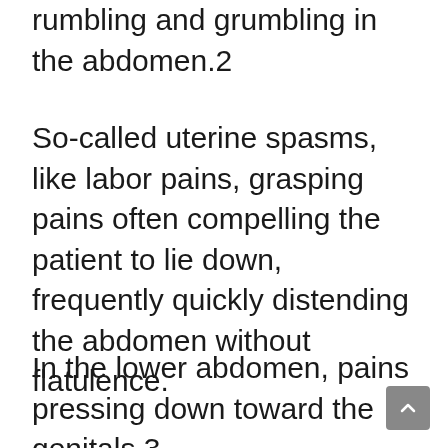rumbling and grumbling in the abdomen.2
So-called uterine spasms, like labor pains, grasping pains often compelling the patient to lie down, frequently quickly distending the abdomen without flatulence.
In the lower abdomen, pains pressing down toward the genitals.3